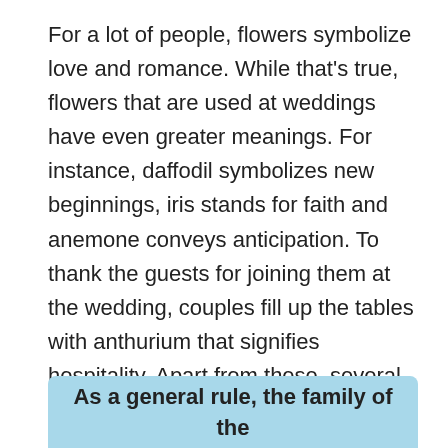For a lot of people, flowers symbolize love and romance. While that's true, flowers that are used at weddings have even greater meanings. For instance, daffodil symbolizes new beginnings, iris stands for faith and anemone conveys anticipation. To thank the guests for joining them at the wedding, couples fill up the tables with anthurium that signifies hospitality. Apart from these, several other types of flowers are used in a wedding, each of them carrying a distinctive meaning and appeal. With so many varieties of flowers being used, have you ever wondered who pays for wedding flowers?
As a general rule, the family of the